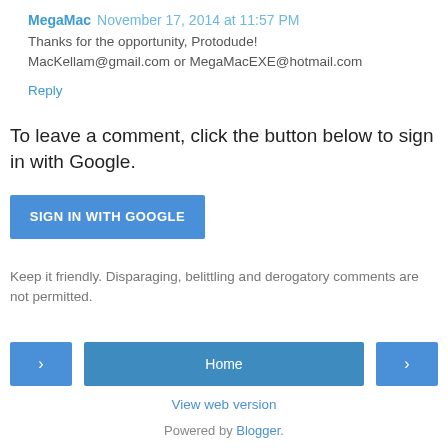MegaMac  November 17, 2014 at 11:57 PM
Thanks for the opportunity, Protodude!
MacKellam@gmail.com or MegaMacEXE@hotmail.com
Reply
To leave a comment, click the button below to sign in with Google.
[Figure (other): Blue SIGN IN WITH GOOGLE button]
Keep it friendly. Disparaging, belittling and derogatory comments are not permitted.
[Figure (other): Navigation bar with left arrow, Home button, and right arrow]
View web version
Powered by Blogger.